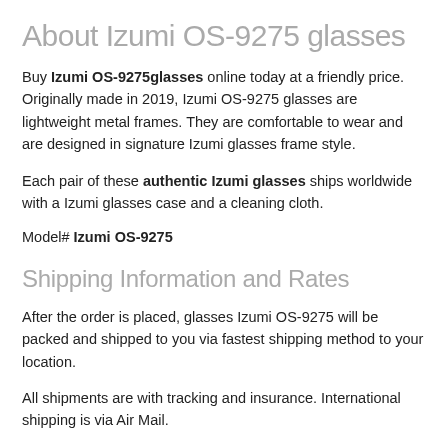About Izumi OS-9275 glasses
Buy Izumi OS-9275glasses online today at a friendly price. Originally made in 2019, Izumi OS-9275 glasses are lightweight metal frames. They are comfortable to wear and are designed in signature Izumi glasses frame style.
Each pair of these authentic Izumi glasses ships worldwide with a Izumi glasses case and a cleaning cloth.
Model# Izumi OS-9275
Shipping Information and Rates
After the order is placed, glasses Izumi OS-9275 will be packed and shipped to you via fastest shipping method to your location.
All shipments are with tracking and insurance. International shipping is via Air Mail.
All orders are processed on target for 1-2 weeks. Shipping